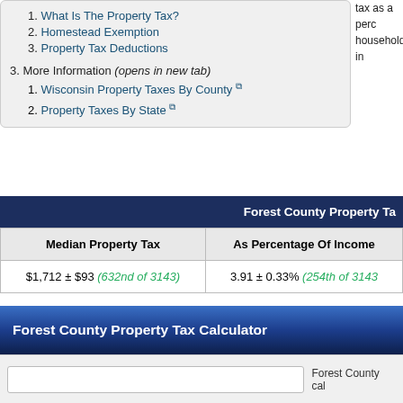1. What Is The Property Tax?
2. Homestead Exemption
3. Property Tax Deductions
3. More Information (opens in new tab)
1. Wisconsin Property Taxes By County [external link]
2. Property Taxes By State [external link]
tax as a perc... household in...
| Forest County Property Ta... |  | Median Property Tax | As Percentage Of Income |
| --- | --- | --- | --- |
| $1,712 ± $93 (632nd of 3143) | 3.91 ± 0.33% (254th of 3143 |
Note: This page provides general information about property taxes... information or property records about a property in Forest County, c... Office.
Forest County Property Tax Calculator
Forest County cal...